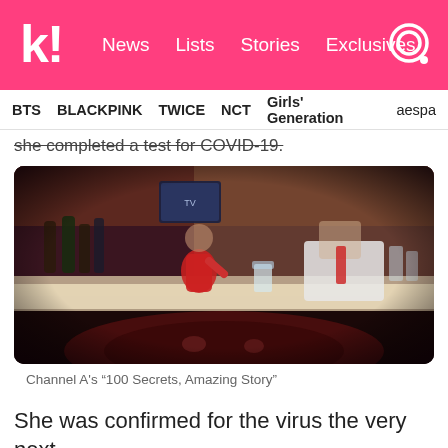k! News Lists Stories Exclusives
BTS  BLACKPINK  TWICE  NCT  Girls' Generation  aespa
she completed a test for COVID-19.
[Figure (photo): Bar scene photo showing a woman in a red dress behind a bar counter, a man in a white shirt seated, and bottles in background. Part of a hidden camera or investigative footage.]
Channel A's “100 Secrets, Amazing Story”
She was confirmed for the virus the very next